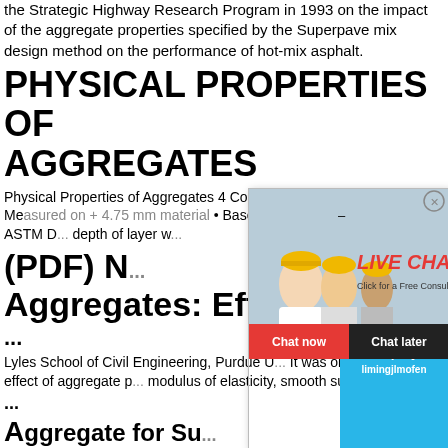the Strategic Highway Research Program in 1993 on the impact of the aggregate properties specified by the Superpave mix design method on the performance of hot-mix asphalt.
PHYSICAL PROPERTIES OF AGGREGATES
Physical Properties of Aggregates 4 Coarse Aggregate Angularity • Measured on + 4.75 mm material • Based on fractured faces • ASTM D... depth of layer w... hour online –
(PDF) N... Aggregates: Effects on ...
...
Lyles School of Civil Engineering, Purdue U... It was observed that the effect of aggregate p... modulus of elasticity, smooth surface textu...
...
[Figure (photo): Live chat popup overlay with workers wearing yellow hard hats, LIVE CHAT text in red, 'Click for a Free Consultation', Chat now and Chat later buttons, and a right panel with cyan background showing a cone crusher machine, Click me to chat>>, Enquiry, limingjlmofen text.]